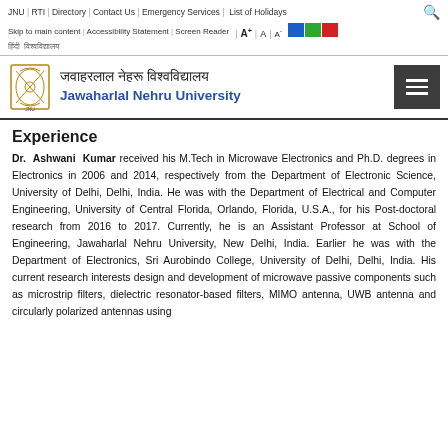JNU | RTI | Directory | Contact Us | Emergency Services | List of Holidays
Skip to main content | Accessibility Statement | Screen Reader | A+ | A | A-
जवाहरलाल नेहरू विश्वविद्यालय / Jawaharlal Nehru University
Experience
Dr. Ashwani Kumar received his M.Tech in Microwave Electronics and Ph.D. degrees in Electronics in 2006 and 2014, respectively from the Department of Electronic Science, University of Delhi, Delhi, India. He was with the Department of Electrical and Computer Engineering, University of Central Florida, Orlando, Florida, U.S.A., for his Post-doctoral research from 2016 to 2017. Currently, he is an Assistant Professor at School of Engineering, Jawaharlal Nehru University, New Delhi, India. Earlier he was with the Department of Electronics, Sri Aurobindo College, University of Delhi, Delhi, India. His current research interests design and development of microwave passive components such as microstrip filters, dielectric resonator-based filters, MIMO antenna, UWB antenna and circularly polarized antennas using